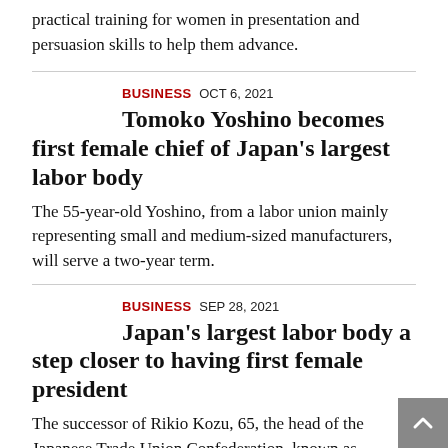practical training for women in presentation and persuasion skills to help them advance.
BUSINESS OCT 6, 2021
Tomoko Yoshino becomes first female chief of Japan's largest labor body
The 55-year-old Yoshino, from a labor union mainly representing small and medium-sized manufacturers, will serve a two-year term.
BUSINESS SEP 28, 2021
Japan's largest labor body a step closer to having first female president
The successor of Rikio Kozu, 65, the head of the Japanese Trade Union Confederation, known as